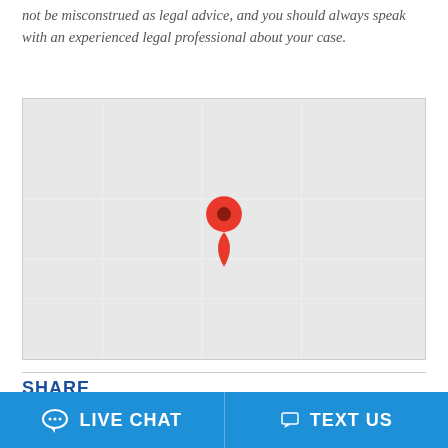not be misconstrued as legal advice, and you should always speak with an experienced legal professional about your case.
[Figure (map): Google Maps embedded map showing a location marker (red pin) roughly centered on the map, with a light gray map background.]
SHARE
Like 0   Tweet   Share
LIVE CHAT   TEXT US